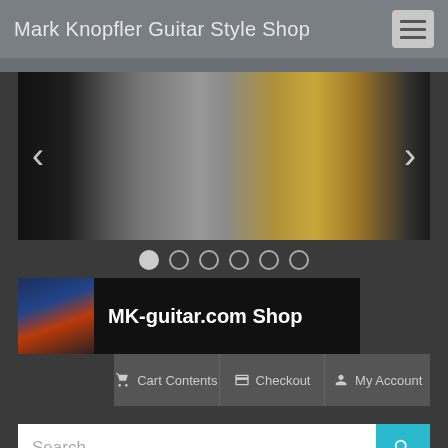Mark Knopfler Guitar Style Shop
[Figure (screenshot): Carousel image showing guitar tuner pegs close-up, chrome and gold hardware, dark background]
[Figure (photo): MK-guitar.com Shop banner with guitarist photo on black background]
Cart Contents  Checkout  My Account
Search
Home / Shop / Guitar Parts / Pickups / MK61 Strat Pickup for MK Sound